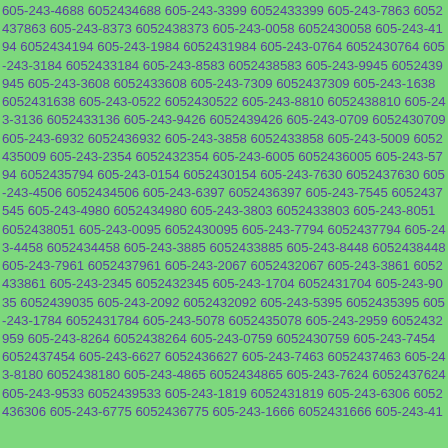605-243-4688 6052434688 605-243-3399 6052433399 605-243-7863 6052437863 605-243-8373 6052438373 605-243-0058 6052430058 605-243-4194 6052434194 605-243-1984 6052431984 605-243-0764 6052430764 605-243-3184 6052433184 605-243-8583 6052438583 605-243-9945 6052439945 605-243-3608 6052433608 605-243-7309 6052437309 605-243-1638 6052431638 605-243-0522 6052430522 605-243-8810 6052438810 605-243-3136 6052433136 605-243-9426 6052439426 605-243-0709 6052430709 605-243-6932 6052436932 605-243-3858 6052433858 605-243-5009 6052435009 605-243-2354 6052432354 605-243-6005 6052436005 605-243-5794 6052435794 605-243-0154 6052430154 605-243-7630 6052437630 605-243-4506 6052434506 605-243-6397 6052436397 605-243-7545 6052437545 605-243-4980 6052434980 605-243-3803 6052433803 605-243-8051 6052438051 605-243-0095 6052430095 605-243-7794 6052437794 605-243-4458 6052434458 605-243-3885 6052433885 605-243-8448 6052438448 605-243-7961 6052437961 605-243-2067 6052432067 605-243-3861 6052433861 605-243-2345 6052432345 605-243-1704 6052431704 605-243-9035 6052439035 605-243-2092 6052432092 605-243-5395 6052435395 605-243-1784 6052431784 605-243-5078 6052435078 605-243-2959 6052432959 605-243-8264 6052438264 605-243-0759 6052430759 605-243-7454 6052437454 605-243-6627 6052436627 605-243-7463 6052437463 605-243-8180 6052438180 605-243-4865 6052434865 605-243-7624 6052437624 605-243-9533 6052439533 605-243-1819 6052431819 605-243-6306 6052436306 605-243-6775 6052436775 605-243-1666 6052431666 605-243-41...